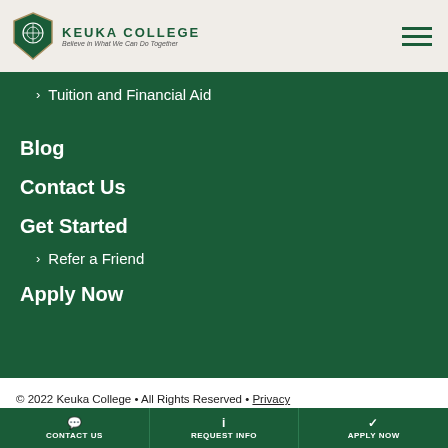KEUKA COLLEGE — Believe in What We Can Do Together
Tuition and Financial Aid
Blog
Contact Us
Get Started
Refer a Friend
Apply Now
© 2022 Keuka College • All Rights Reserved • Privacy Policy • California Privacy Notice
CONTACT US | REQUEST INFO | APPLY NOW